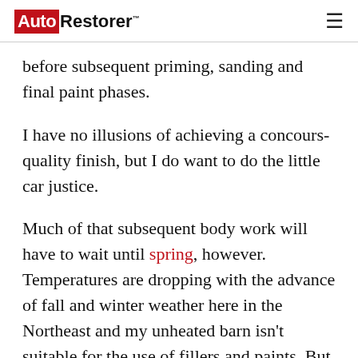Auto Restorer
before subsequent priming, sanding and final paint phases.
I have no illusions of achieving a concours-quality finish, but I do want to do the little car justice.
Much of that subsequent body work will have to wait until spring, however. Temperatures are dropping with the advance of fall and winter weather here in the Northeast and my unheated barn isn’t suitable for the use of fillers and paints. But I’ll have plenty to do over the winter, so I’ll hopefully have further progress to